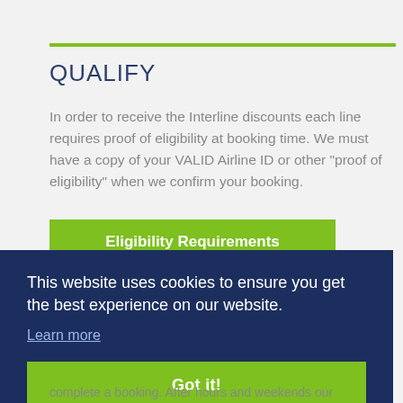QUALIFY
In order to receive the Interline discounts each line requires proof of eligibility at booking time. We must have a copy of your VALID Airline ID or other "proof of eligibility" when we confirm your booking.
[Figure (other): Green button labeled 'Eligibility Requirements' partially visible]
This website uses cookies to ensure you get the best experience on our website.
Learn more
Got it!
complete a booking. After hours and weekends our